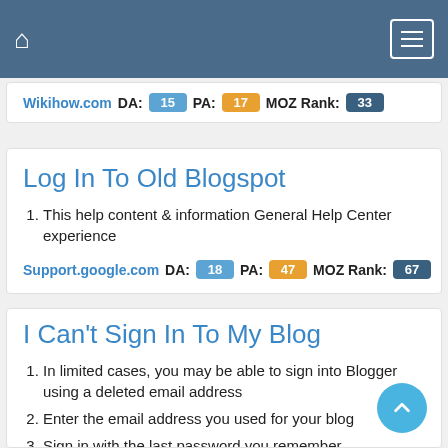Navigation bar with home icon and menu button
Wikihow.com  DA: 15  PA: 17  MOZ Rank: 33
Log In To Old Blogspot
This help content & information General Help Center experience
Support.google.com  DA: 18  PA: 47  MOZ Rank: 67
I Can't Sign In To My Blog
In limited cases, you may be able to sign into Blogger using a deleted email address
Enter the email address you used for your blog
Sign in with the last password you remember
Add an active Google account as an admin to your blog.